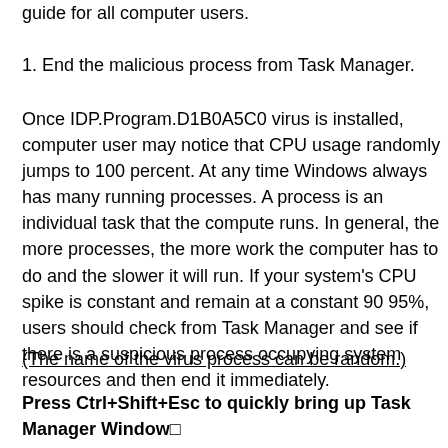guide for all computer users.
1. End the malicious process from Task Manager.
Once IDP.Program.D1B0A5C0 virus is installed, computer user may notice that CPU usage randomly jumps to 100 percent. At any time Windows always has many running processes. A process is an individual task that the computer runs. In general, the more processes, the more work the computer has to do and the slower it will run. If your system’s CPU spike is constant and remain at a constant 90 95%, users should check from Task Manager and see if there is a suspicious process occupying system resources and then end it immediately.
(The name of the virus process can be random.)
Press Ctrl+Shift+Esc to quickly bring up Task Manager Window□